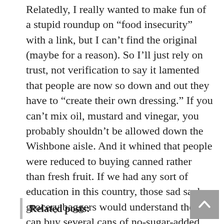Relatedly, I really wanted to make fun of a stupid roundup on “food insecurity” with a link, but I can’t find the original (maybe for a reason). So I’ll just rely on trust, not verification to say it lamented that people are now so down and out they have to “create their own dressing.” If you can’t mix oil, mustard and vinegar, you probably shouldn’t be allowed down the Wishbone aisle. And it whined that people were reduced to buying canned rather than fresh fruit. If we had any sort of education in this country, those sad sack grocery baggers would understand they can buy several cans of no-sugar-added pineapple for one 50 percent-waste fresh one — not all canned is crap. Worst of all, it had people whimpering about having no hamburger. With no directions to the Goya aisle.
Related posts: